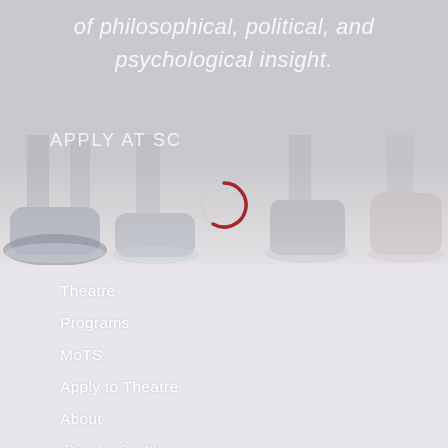[Figure (photo): Background photo of children's feet and legs, partially faded/washed out with white overlay. Shows various shoes including sneakers. A loading spinner (circle, partially red) is visible in the center-right area.]
of philosophical, political, and psychological insight.
Apply at sc
Theatre
Programs
MoTS
Apply to Theatre
About
Shop for Seattle...